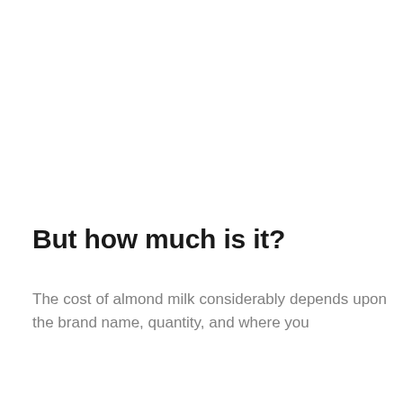But how much is it?
The cost of almond milk considerably depends upon the brand name, quantity, and where you